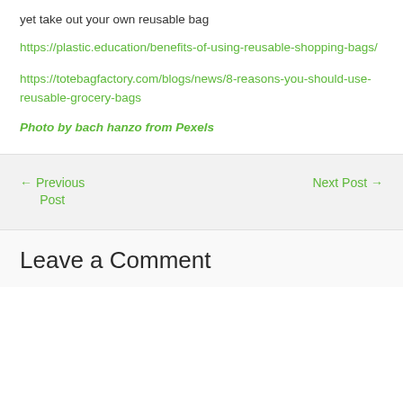yet take out your own reusable bag
https://plastic.education/benefits-of-using-reusable-shopping-bags/
https://totebagfactory.com/blogs/news/8-reasons-you-should-use-reusable-grocery-bags
Photo by bach hanzo from Pexels
← Previous Post
Next Post →
Leave a Comment